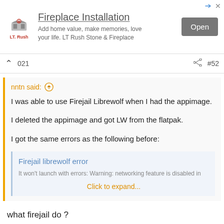[Figure (illustration): Advertisement banner for LT Rush Stone & Fireplace with logo, text 'Fireplace Installation - Add home value, make memories, love your life. LT Rush Stone & Fireplace', and an Open button]
021  #52
nntn said: ↑

I was able to use Firejail Librewolf when I had the appimage.

I deleted the appimage and got LW from the flatpak.

I got the same errors as the following before:

Firejail librewolf error
It won't launch with errors: Warning: networking feature is disabled in...
Click to expand...
what firejail do ?
Deleted member 128018
Guest